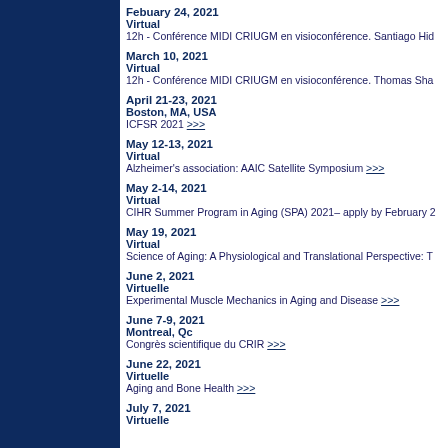Febuary 24, 2021 | Virtual | 12h - Conférence MIDI CRIUGM en visioconférence. Santiago Hid
March 10, 2021 | Virtual | 12h - Conférence MIDI CRIUGM en visioconférence. Thomas Sha
April 21-23, 2021 | Boston, MA, USA | ICFSR 2021 >>>
May 12-13, 2021 | Virtual | Alzheimer's association: AAIC Satellite Symposium >>>
May 2-14, 2021 | Virtual | CIHR Summer Program in Aging (SPA) 2021– apply by February 2
May 19, 2021 | Virtual | Science of Aging: A Physiological and Translational Perspective: T
June 2, 2021 | Virtuelle | Experimental Muscle Mechanics in Aging and Disease >>>
June 7-9, 2021 | Montreal, Qc | Congrès scientifique du CRIR >>>
June 22, 2021 | Virtuelle | Aging and Bone Health >>>
July 7, 2021 | Virtuelle